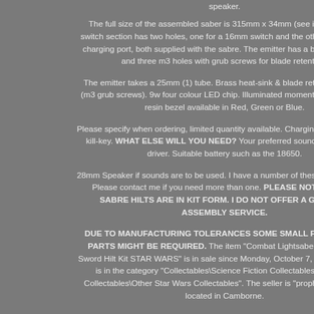speaker.
The full size of the assembled saber is 315mm x 34mm (see images). The switch section has two holes, one for a 16mm switch and the other for a 10mm charging port, both supplied with the sabre. The emitter has a brass heat-sink and three m3 holes with grub screws for blade retention.
The emitter takes a 25mm (1) tube. Brass heat-sink & blade retention screws (m3 grub screws). 9w four colour LED chip. Illuminated momentary switch with resin bezel available in Red, Green or Blue.
Please specify when ordering, limited quantity available. Charging port with resin kill-key. WHAT ELSE WILL YOU NEED? Your preferred sound-board / LED driver. Suitable battery such as the 18650.
28mm Speaker if sounds are to be used. I have a number of these kits available. Please contact me if you need more than one. PLEASE NOTE : THESE SABRE HILTS ARE IN KIT FORM. I DO NOT OFFER A GUIDE OR ASSEMBLY SERVICE.
DUE TO MANUFACTURING TOLERANCES SOME SMALL FETTLING OF PARTS MIGHT BE REQUIRED. The item "Combat Lightsaber Light-Sabre Sword Hilt Kit STAR WARS" is in sale since Monday, October 7, 2019. This item is in the category "Collectables\Science Fiction Collectables\Star Wars Collectables\Other Star Wars Collectables". The seller is "prophet106" and is located in Camborne.
This item can be shipped to United Kingdom, Antigua and barbuda, Austria, Belgium, Bulgaria, Croatia, Cyprus, Czech republic, Denmark, Estonia, Finland, France, Germany, Greece, Hungary, Ireland, Italy,